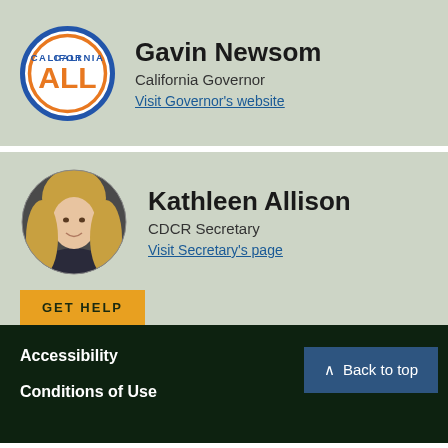[Figure (logo): California ALL logo — circular badge with blue and orange rings, text 'CALIFORNIA ALL']
Gavin Newsom
California Governor
Visit Governor's website
[Figure (photo): Circular photo of Kathleen Allison, a woman with blonde hair]
Kathleen Allison
CDCR Secretary
Visit Secretary's page
GET HELP
Accessibility
Back to top
Conditions of Use